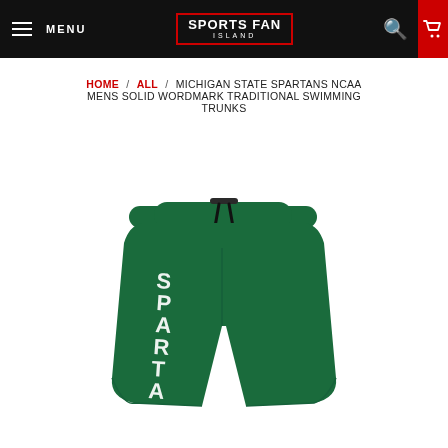MENU | SPORTS FAN ISLAND | Search | Cart 0
HOME / ALL / MICHIGAN STATE SPARTANS NCAA MENS SOLID WORDMARK TRADITIONAL SWIMMING TRUNKS
MICHIGAN STATE SPARTANS NCAA MENS SOLID WORDMARK TRADITIONAL SWIMMING TRUNKS
[Figure (photo): Green Michigan State Spartans swimming trunks with 'SPARTANS' printed vertically on the left leg and a Spartan helmet logo on the lower right leg. The trunks have a drawstring waistband.]